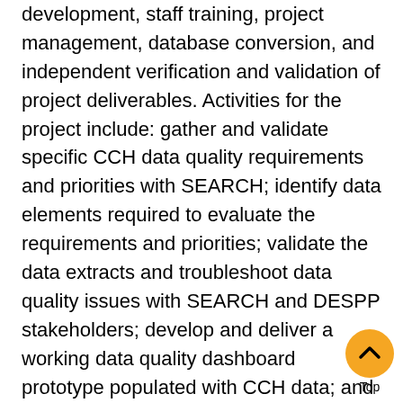development, staff training, project management, database conversion, and independent verification and validation of project deliverables. Activities for the project include: gather and validate specific CCH data quality requirements and priorities with SEARCH; identify data elements required to evaluate the requirements and priorities; validate the data extracts and troubleshoot data quality issues with SEARCH and DESPP stakeholders; develop and deliver a working data quality dashboard prototype populated with CCH data; and participate in training. The CCH and AFIS replacement project addresses a number of 2020 NCHIP priority areas including updating and automating case outcomes from courts and prosecutors in state records and federal databases such as III, NCIC and the NICS Indices. 2) Crimina